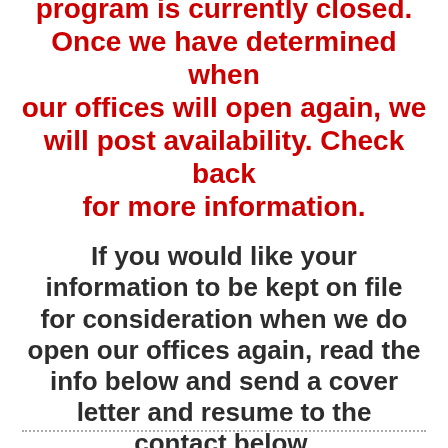program is currently closed. Once we have determined when our offices will open again, we will post availability. Check back for more information.
If you would like your information to be kept on file for consideration when we do open our offices again, read the info below and send a cover letter and resume to the contact below.